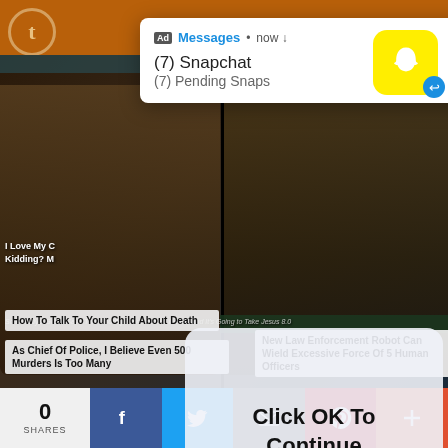[Figure (screenshot): Tumblr app interface with orange top bar and Tumblr logo icon]
[Figure (screenshot): Snapchat push notification ad popup showing '(7) Snapchat - (7) Pending Snaps' with yellow Snapchat ghost icon and blue reply badge]
[Figure (screenshot): Modal dialog overlay showing 'Click OK To Continue' with OK button in blue text]
I Love My C
Kidding? M
Somebody's Got to Save This Country From Certain
Doom, And It's Going to Take Jesus 8.0
How To Talk To Your Child About Death
As Chief Of Police, I Believe Even 500 Murders Is Too Many
New Law Enforcement Robot Can Wield Excessive Force Of 5 Human Officers
[Figure (screenshot): Social sharing bar with 0 SHARES count, Facebook (blue), Twitter (light blue), Email (grey), Pinterest (red), and More (orange-red) buttons]